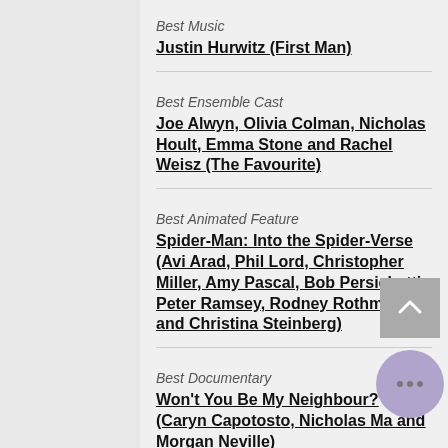Best Music
Justin Hurwitz (First Man)
Best Ensemble Cast
Joe Alwyn, Olivia Colman, Nicholas Hoult, Emma Stone and Rachel Weisz (The Favourite)
Best Animated Feature
Spider-Man: Into the Spider-Verse (Avi Arad, Phil Lord, Christopher Miller, Amy Pascal, Bob Persichetti, Peter Ramsey, Rodney Rothman and Christina Steinberg)
Best Documentary
Won't You Be My Neighbour? (Caryn Capotosto, Nicholas Ma and Morgan Neville)